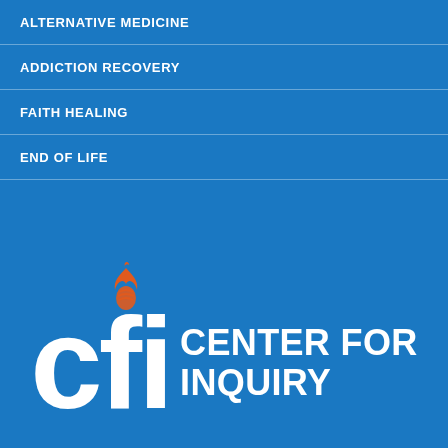ALTERNATIVE MEDICINE
ADDICTION RECOVERY
FAITH HEALING
END OF LIFE
[Figure (logo): Center for Inquiry (CFI) logo: large white 'cfi' letters with an orange flame/DNA helix icon above the 'i', and 'CENTER FOR INQUIRY' text to the right, all on a blue background]